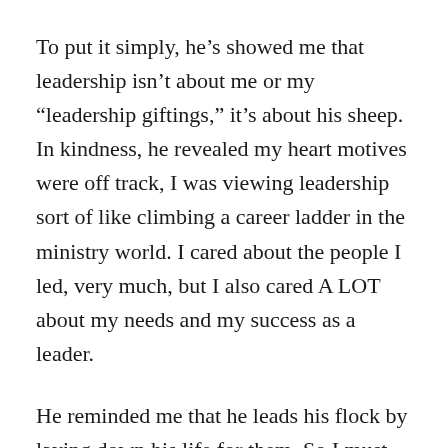To put it simply, he’s showed me that leadership isn’t about me or my “leadership giftings,” it’s about his sheep. In kindness, he revealed my heart motives were off track, I was viewing leadership sort of like climbing a career ladder in the ministry world. I cared about the people I led, very much, but I also cared A LOT about my needs and my success as a leader.
He reminded me that he leads his flock by laying down his life for them. So I must do the same if I am to be his disciple. I must pour out my giftings, my passions, my life to see the people I lead walk in the